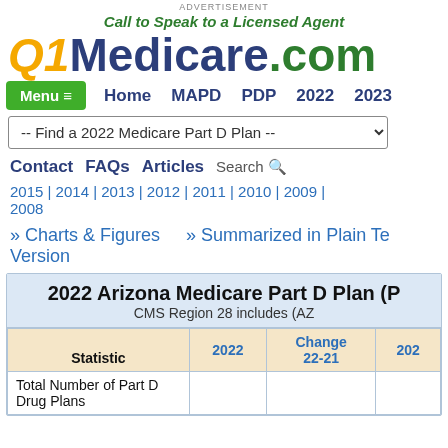Advertisement
Call to Speak to a Licensed Agent
Q1Medicare.com
Menu  Home  MAPD  PDP  2022  2023
-- Find a 2022 Medicare Part D Plan --
Contact  FAQs  Articles  Search
2015 | 2014 | 2013 | 2012 | 2011 | 2010 | 2009 | 2008
» Charts & Figures    » Summarized in Plain Text Version
| Statistic | 2022 | Change 22-21 | 202... |
| --- | --- | --- | --- |
| Total Number of Part D Drug Plans |  |  |  |